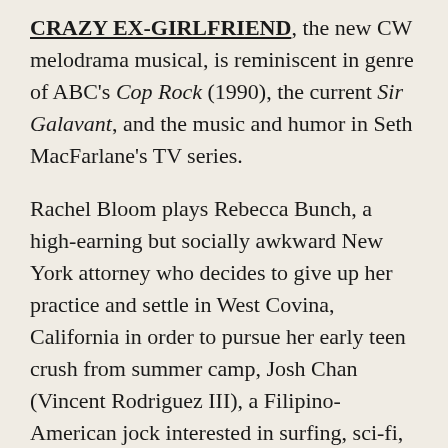CRAZY EX-GIRLFRIEND, the new CW melodrama musical, is reminiscent in genre of ABC's Cop Rock (1990), the current Sir Galavant, and the music and humor in Seth MacFarlane's TV series.
Rachel Bloom plays Rebecca Bunch, a high-earning but socially awkward New York attorney who decides to give up her practice and settle in West Covina, California in order to pursue her early teen crush from summer camp, Josh Chan (Vincent Rodriguez III), a Filipino-American jock interested in surfing, sci-fi, and siren girlfriends. Lest we suspect something a bit elitist in Rebecca's assumption that she can win Josh at whim, through dedicated deviousness aimed at both him and his family, the show reassures us constantly (even in its opening song) that Rebecca is wacky